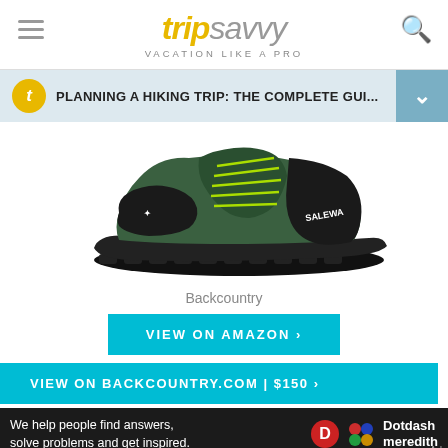tripsavvy VACATION LIKE A PRO
PLANNING A HIKING TRIP: THE COMPLETE GUI...
[Figure (photo): Salewa hiking shoe/trail runner in dark green and black with lugged rubber sole, side view on white background]
Backcountry
VIEW ON AMAZON >
VIEW ON BACKCOUNTRY.COM | $150 >
We help people find answers, solve problems and get inspired.
Dotdash meredith